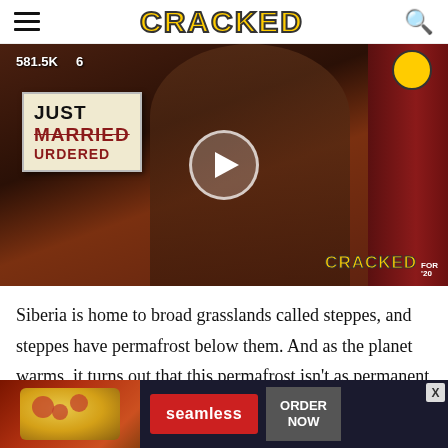CRACKED
[Figure (screenshot): Video thumbnail showing a man holding a stuffed animal toy, with a 'JUST MARRIED URDERED' sign visible. Stats show 581.5K views and 6 comments. Play button overlay in center. Cracked FOR 20 badge at bottom right.]
Siberia is home to broad grasslands called steppes, and steppes have permafrost below them. And as the planet warms, it turns out that this permafrost isn't as permanent as we thought. Like the McRib, we only
[Figure (screenshot): Seamless food delivery advertisement banner showing pizza image on left, red 'seamless' button in center, and 'ORDER NOW' button on right with dark background.]